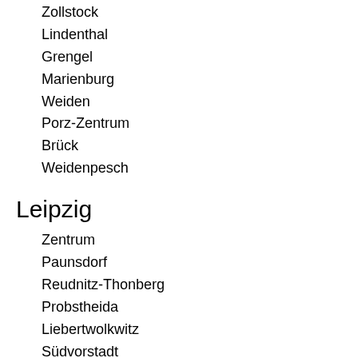Zollstock
Lindenthal
Grengel
Marienburg
Weiden
Porz-Zentrum
Brück
Weidenpesch
Leipzig
Zentrum
Paunsdorf
Reudnitz-Thonberg
Probstheida
Liebertwolkwitz
Südvorstadt
Connewitz
Plagwitz
Lindenau
Leutzsch
Bauernau-Büchersdorf